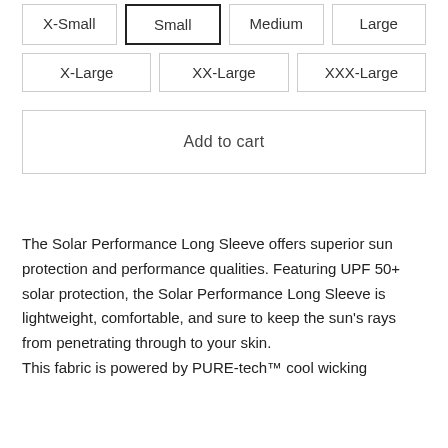X-Small | Small (selected) | Medium | Large
X-Large | XX-Large | XXX-Large
Add to cart
The Solar Performance Long Sleeve offers superior sun protection and performance qualities. Featuring UPF 50+ solar protection, the Solar Performance Long Sleeve is lightweight, comfortable, and sure to keep the sun's rays from penetrating through to your skin. This fabric is powered by PURE-tech™ cool wicking